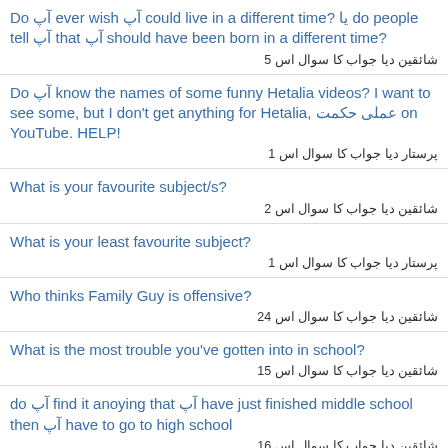Do آپ ever wish آپ could live in a different time? یا do people tell آپ that آپ should have been born in a different time?
شائقین دیا جواب کا سوال اس 5
Do آپ know the names of some funny Hetalia videos? I want to see some, but I don't get anything for Hetalia, عملی حکمت on YouTube. HELP!
پرستار دیا جواب کا سوال اس 1
What is your favourite subject/s?
شائقین دیا جواب کا سوال اس 2
What is your least favourite subject?
پرستار دیا جواب کا سوال اس 1
Who thinks Family Guy is offensive?
شائقین دیا جواب کا سوال اس 24
What is the most trouble you've gotten into in school?
شائقین دیا جواب کا سوال اس 15
do آپ find it anoying that آپ have just finished middle school then آپ have to go to high school
شائقین دیا جواب کا سوال اس 16
is this fran fines real voice(from the nanny)
شائقین دیا جواب کا سوال اس 4